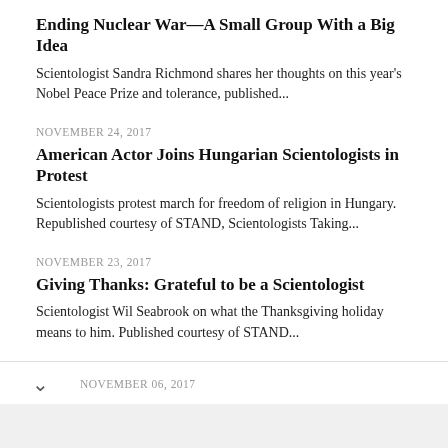Ending Nuclear War—A Small Group With a Big Idea
Scientologist Sandra Richmond shares her thoughts on this year's Nobel Peace Prize and tolerance, published...
NOVEMBER 24, 2017
American Actor Joins Hungarian Scientologists in Protest
Scientologists protest march for freedom of religion in Hungary. Republished courtesy of STAND, Scientologists Taking...
NOVEMBER 23, 2017
Giving Thanks: Grateful to be a Scientologist
Scientologist Wil Seabrook on what the Thanksgiving holiday means to him. Published courtesy of STAND...
NOVEMBER 06, 2017